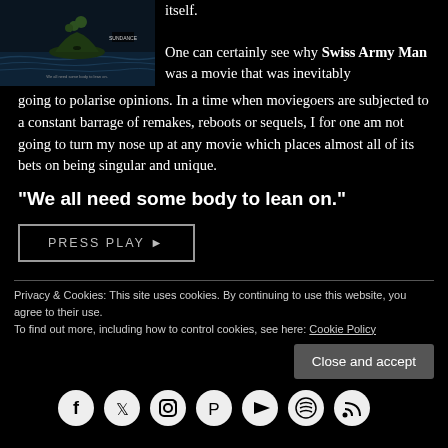[Figure (photo): Movie poster for Swiss Army Man showing a figure on a small island surrounded by water, dark atmospheric imagery]
itself.
One can certainly see why Swiss Army Man was a movie that was inevitably going to polarise opinions. In a time when moviegoers are subjected to a constant barrage of remakes, reboots or sequels, I for one am not going to turn my nose up at any movie which places almost all of its bets on being singular and unique.
“We all need some body to lean on.”
PRESS PLAY ►
Privacy & Cookies: This site uses cookies. By continuing to use this website, you agree to their use. To find out more, including how to control cookies, see here: Cookie Policy
Close and accept
[Figure (illustration): Row of social media icons: Facebook, Twitter, Instagram, Pinterest, YouTube, Spotify, RSS]